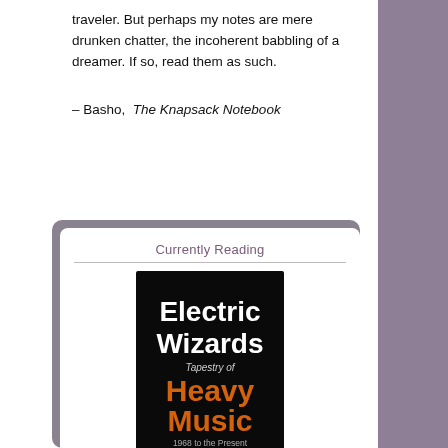traveler. But perhaps my notes are mere drunken chatter, the incoherent babbling of a dreamer. If so, read them as such.
— Basho, The Knapsack Notebook
Currently Reading
[Figure (illustration): Book cover of 'Electric Wizards: A Tapestry of Heavy Music, 1968 to the Present' by JR Moores. Black background with bold white text 'Electric Wizards', orange text 'Heavy Music', and smaller text '1968 to the Present' and 'JR Moores'.]
Electric Wizards: A Tapestry of Heavy Music, 1968 to the Present
by J.R. Moores
[Figure (photo): Partial image of a book cover showing a face, cropped at bottom of page.]